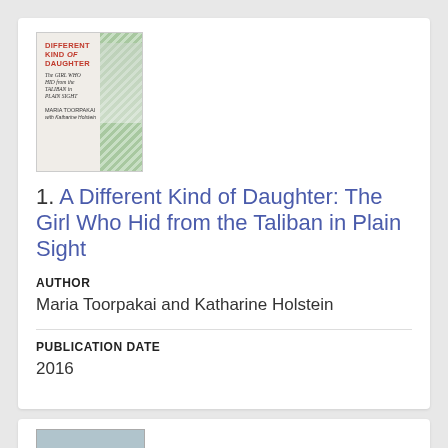[Figure (photo): Book cover of 'A Different Kind of Daughter: The Girl Who Hid from the Taliban in Plain Sight' by Maria Toorpakai with Katharine Holstein]
1. A Different Kind of Daughter: The Girl Who Hid from the Taliban in Plain Sight
AUTHOR
Maria Toorpakai and Katharine Holstein
PUBLICATION DATE
2016
[Figure (photo): Partial book cover image at bottom of page (second listing)]